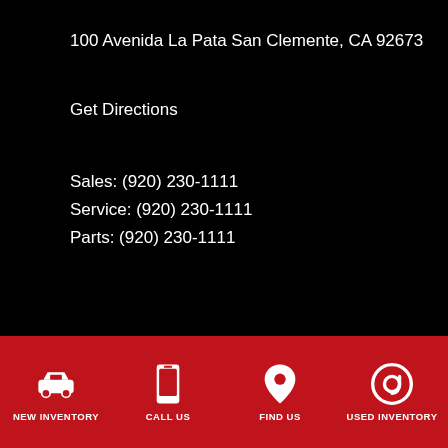100 Avenida La Pata San Clemente, CA 92673
Get Directions
Sales: (920) 230-1111
Service: (920) 230-1111
Parts: (920) 230-1111
Inventory
All New Toyota
SUVs
Trucks
Cars
Vans
NEW INVENTORY   CALL US   FIND US   USED INVENTORY